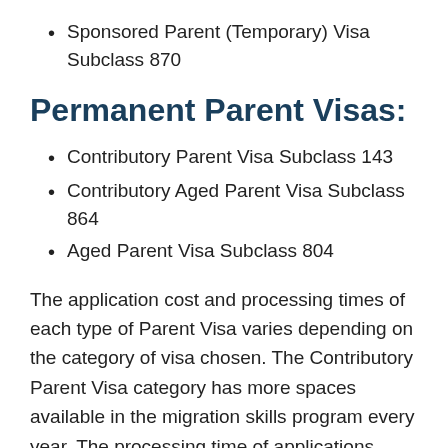Sponsored Parent (Temporary) Visa Subclass 870
Permanent Parent Visas:
Contributory Parent Visa Subclass 143
Contributory Aged Parent Visa Subclass 864
Aged Parent Visa Subclass 804
The application cost and processing times of each type of Parent Visa varies depending on the category of visa chosen. The Contributory Parent Visa category has more spaces available in the migration skills program every year. The processing time of applications under the Contributory Parent Visa category is shorter than the other categories, however the cost of application charges is significantly higher